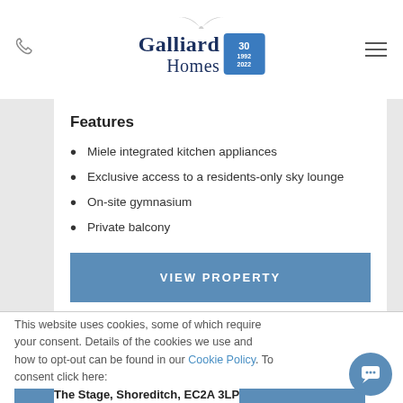Galliard Homes [logo]
Features
Miele integrated kitchen appliances
Exclusive access to a residents-only sky lounge
On-site gymnasium
Private balcony
VIEW PROPERTY
This website uses cookies, some of which require your consent. Details of the cookies we use and how to opt-out can be found in our Cookie Policy. To consent click here:
I Accept
The Stage, Shoreditch, EC2A 3LP